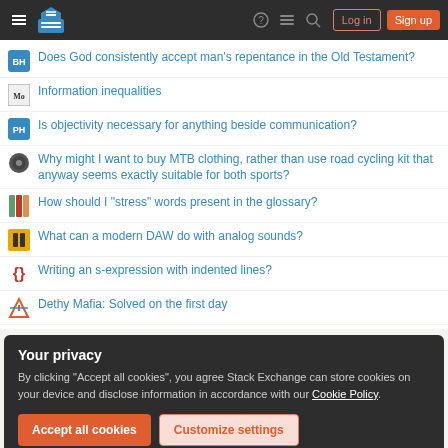Stack Exchange navigation bar with Log in and Sign up buttons
Does God consistently accept man’s repentance in the Old Testament?
Information inequalities
Is objectivity necessary for anything beside communication?
Why might I want to buy MTB clothing, rather than use road cycling kit that anyway seems exactly suitable for both sports?
How should I “stress” words present in the glossary?
What can a modern DAW do with analog sounds?
Writing an s-expression with indented lines?
Dethy Mafia: Solved on the first day
Your privacy
By clicking “Accept all cookies”, you agree Stack Exchange can store cookies on your device and disclose information in accordance with our Cookie Policy.